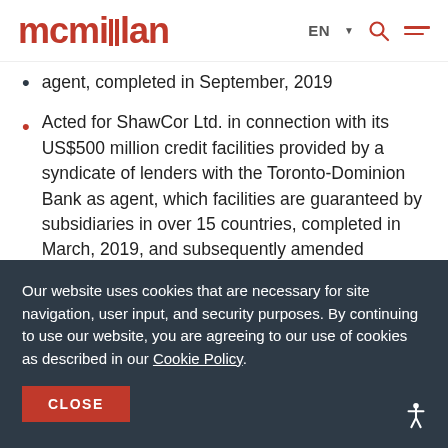[Figure (logo): McMillan law firm logo in red/coral color]
agent, completed in September, 2019
Acted for ShawCor Ltd. in connection with its US$500 million credit facilities provided by a syndicate of lenders with the Toronto-Dominion Bank as agent, which facilities are guaranteed by subsidiaries in over 15 countries, completed in March, 2019, and subsequently amended
Our website uses cookies that are necessary for site navigation, user input, and security purposes. By continuing to use our website, you are agreeing to our use of cookies as described in our Cookie Policy.